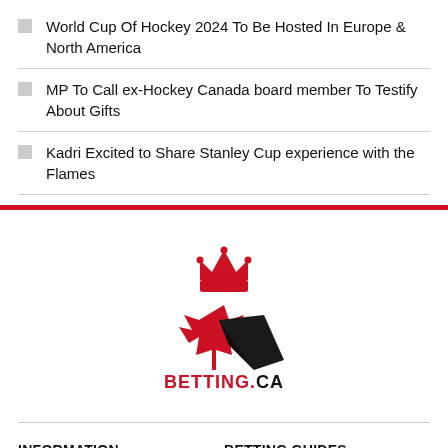World Cup Of Hockey 2024 To Be Hosted In Europe & North America
MP To Call ex-Hockey Canada board member To Testify About Gifts
Kadri Excited to Share Stanley Cup experience with the Flames
[Figure (logo): BETTING.CA logo with red maple leaf, black checkmark/arrow, and red crown above]
INFORMATION
BETTING GUIDES